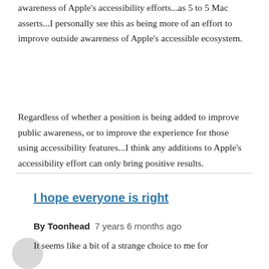awareness of Apple's accessibility efforts...as 5 to 5 Mac asserts...I personally see this as being more of an effort to improve outside awareness of Apple's accessible ecosystem.
Regardless of whether a position is being added to improve public awareness, or to improve the experience for those using accessibility features...I think any additions to Apple's accessibility effort can only bring positive results.
I hope everyone is right
By Toonhead   7 years 6 months ago
It seems like a bit of a strange choice to me for...